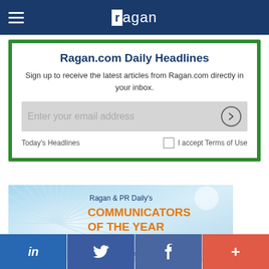ragan
Ragan.com Daily Headlines
Sign up to receive the latest articles from Ragan.com directly in your inbox.
Enter your email address
Today's Headlines
I accept Terms of Use
[Figure (infographic): Ragan & PR Daily's Communicators of the Year Awards promotional banner with blue ray burst background. Text reads: Ragan & PR Daily's COMMUNICATORS OF THE YEAR Awards. Entry Deadline: October 7, 2022]
in  [Twitter bird]  f  +